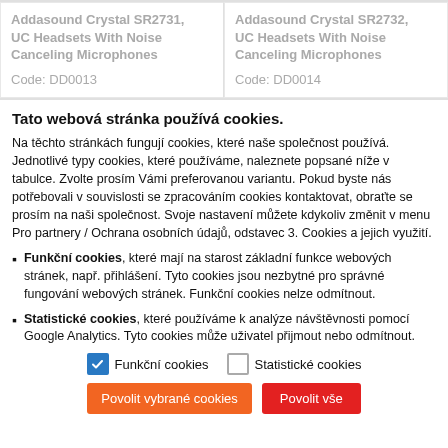Addasound Crystal SR2731, UC Headsets With Noise Canceling Microphones
Code: DD0013
Addasound Crystal SR2732, UC Headsets With Noise Canceling Microphones
Code: DD0014
Tato webová stránka používá cookies.
Na těchto stránkách fungují cookies, které naše společnost používá. Jednotlivé typy cookies, které používáme, naleznete popsané níže v tabulce. Zvolte prosím Vámi preferovanou variantu. Pokud byste nás potřebovali v souvislosti se zpracováním cookies kontaktovat, obraťte se prosím na naši společnost. Svoje nastavení můžete kdykoliv změnit v menu Pro partnery / Ochrana osobních údajů, odstavec 3. Cookies a jejich využití.
Funkční cookies, které mají na starost základní funkce webových stránek, např. přihlášení. Tyto cookies jsou nezbytné pro správné fungování webových stránek. Funkční cookies nelze odmítnout.
Statistické cookies, které používáme k analýze návštěvnosti pomocí Google Analytics. Tyto cookies může uživatel přijmout nebo odmítnout.
Funkční cookies  Statistické cookies
Povolit vybrané cookies  Povolit vše